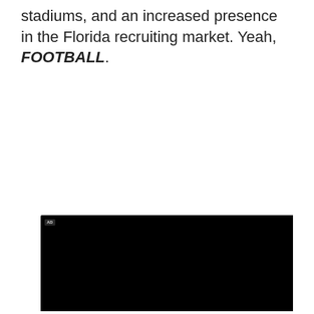stadiums, and an increased presence in the Florida recruiting market. Yeah, FOOTBALL.
[Figure (screenshot): Video ad player showing a dark screen with an AD badge in the top left, a speaker/volume icon in the bottom left, and a blue light streak gradient at the bottom. Below the video is a Honda HR-V advertisement panel with dark background, light streaks, text reading 'All-New HR-V Powered by determination.']